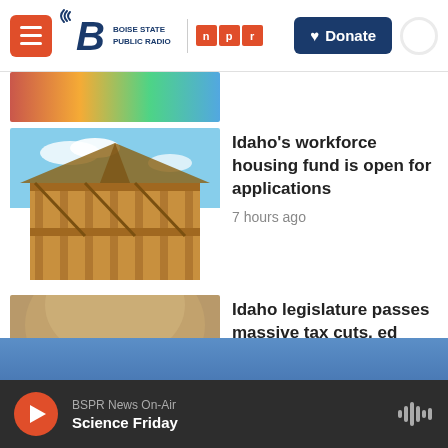Boise State Public Radio | NPR | Donate
[Figure (photo): Partial view of a colorful image, possibly people or event]
Idaho's workforce housing fund is open for applications
7 hours ago
[Figure (photo): Construction framing of a new house building against blue sky]
Idaho legislature passes massive tax cuts, ed funding in special session
19 hours ago
[Figure (photo): Idaho state capitol dome interior with state flag]
BSPR News On-Air — Science Friday